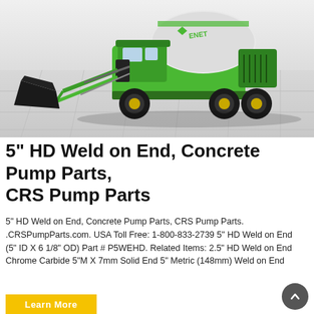[Figure (photo): Green concrete mixer truck / self-loading concrete mixer with a large drum and front loader bucket, photographed in a studio setting with light gray tile floor and white background.]
5" HD Weld on End, Concrete Pump Parts, CRS Pump Parts
5" HD Weld on End, Concrete Pump Parts, CRS Pump Parts. .CRSPumpParts.com. USA Toll Free: 1-800-833-2739 5" HD Weld on End (5" ID X 6 1/8" OD) Part # P5WEHD. Related Items: 2.5" HD Weld on End Chrome Carbide 5"M X 7mm Solid End 5" Metric (148mm) Weld on End